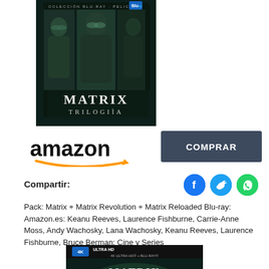[Figure (photo): Matrix Trilogía Blu-ray box set product image showing three characters and MATRIX TRILOGÍA text on a dark teal/black background]
[Figure (logo): Amazon logo in black text with orange arrow underneath]
COMPRAR
Compartir:
[Figure (other): Social media share icons: Facebook (blue circle with f), Twitter (cyan circle with bird), WhatsApp (green circle with phone)]
Pack: Matrix + Matrix Revolution + Matrix Reloaded Blu-ray: Amazon.es: Keanu Reeves, Laurence Fishburne, Carrie-Anne Moss, Andy Wachosky, Lana Wachosky, Keanu Reeves, Laurence Fishburne, Bruce Berman: Cine y Series
[Figure (photo): Matrix Trilogy 4K Ultra HD + Blu-ray box set product image partially visible at bottom]